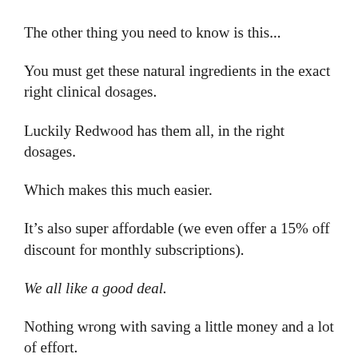The other thing you need to know is this...
You must get these natural ingredients in the exact right clinical dosages.
Luckily Redwood has them all, in the right dosages.
Which makes this much easier.
It’s also super affordable (we even offer a 15% off discount for monthly subscriptions).
We all like a good deal.
Nothing wrong with saving a little money and a lot of effort.